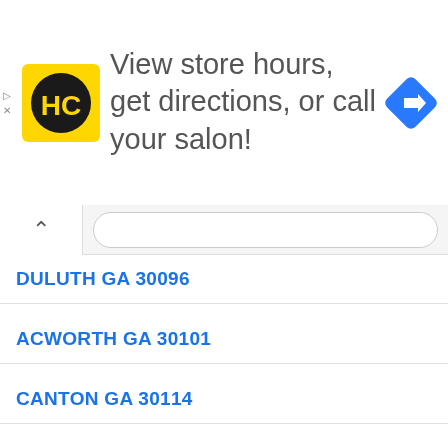[Figure (logo): HC (Hair Cuttery) logo - yellow square with HC in black circle, with blue navigation arrow icon on right. Ad banner with text: View store hours, get directions, or call your salon!]
View store hours, get directions, or call your salon!
DULUTH GA 30096
ACWORTH GA 30101
CANTON GA 30114
POWDER SPRINGS GA 30127
DOUGLASVILLE GA 30135
KENNESAW GA 30144
DALLAS GA 30157
WOODSTOCK GA 30188
MCDONOUGH GA 30253
NEWNAN GA 30263